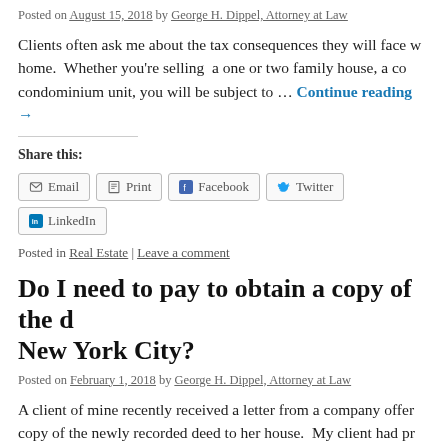Posted on August 15, 2018 by George H. Dippel, Attorney at Law
Clients often ask me about the tax consequences they will face when selling their home. Whether you're selling a one or two family house, a co- op apartment or a condominium unit, you will be subject to … Continue reading →
Share this:
Email | Print | Facebook | Twitter | LinkedIn
Posted in Real Estate | Leave a comment
Do I need to pay to obtain a copy of the deed to my home in New York City?
Posted on February 1, 2018 by George H. Dippel, Attorney at Law
A client of mine recently received a letter from a company offer- ing to send her a copy of the newly recorded deed to her house. My client had pr- … Continue reading →